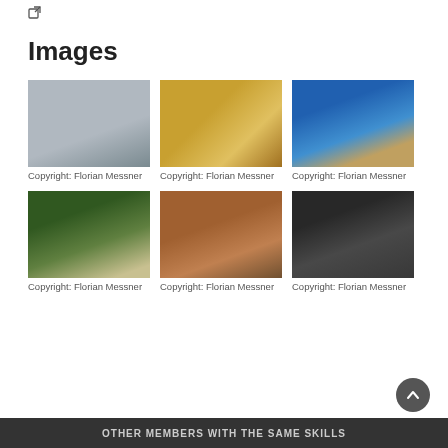[Figure (other): External link icon]
Images
[Figure (photo): Close-up of a rusty or corroded metal surface]
Copyright: Florian Messner
[Figure (photo): Close-up of a gold chain]
Copyright: Florian Messner
[Figure (photo): Museum interior with ancient statues and blue glass windows]
Copyright: Florian Messner
[Figure (photo): Person shooting a longbow outdoors with forested mountains in background]
Copyright: Florian Messner
[Figure (photo): Person sitting in a cave or rock passage]
Copyright: Florian Messner
[Figure (photo): Man in chainmail armor holding a sword, dark background]
Copyright: Florian Messner
OTHER MEMBERS WITH THE SAME SKILLS